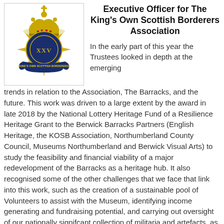[Figure (logo): King's Own Scottish Borderers Association badge/crest with crown, blue scroll banner reading 'KING'S OWN SCOTTISH BORDERERS' and 'XXV' in the center]
Executive Officer for The King's Own Scottish Borderers Association
In the early part of this year the Trustees looked in depth at the emerging trends in relation to the Association, The Barracks, and the future. This work was driven to a large extent by the award in late 2018 by the National Lottery Heritage Fund of a Resilience Heritage Grant to the Berwick Barracks Partners (English Heritage, the KOSB Association, Northumberland County Council, Museums Northumberland and Berwick Visual Arts) to study the feasibility and financial viability of a major redevelopment of the Barracks as a heritage hub. It also recognised some of the other challenges that we face that link into this work, such as the creation of a sustainable pool of Volunteers to assist with the Museum, identifying income generating and fundraising potential, and carrying out oversight of our nationally signifcant collection of militaria and artefacts, as well as the other more routine